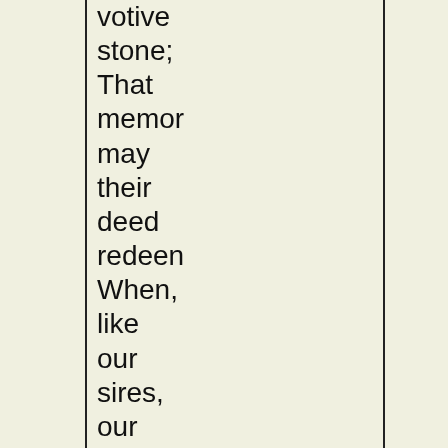votive stone; That memory may their deed redeem When, like our sires, our sons are gone.

Spirit, that made those heroes dare To die, and leave their children free, Bid Time